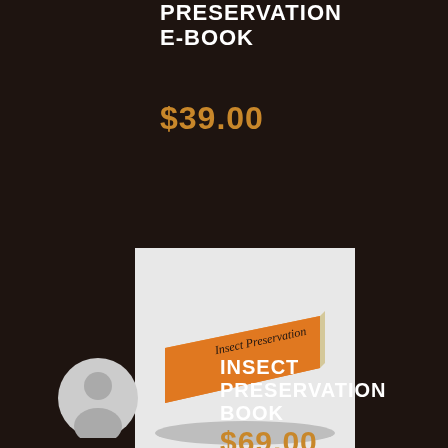PRESERVATION E-BOOK
$39.00
[Figure (photo): An orange book titled 'Insect Preservation' lying on a light gray surface, photographed at a slight angle]
INSECT PRESERVATION BOOK
$69.00